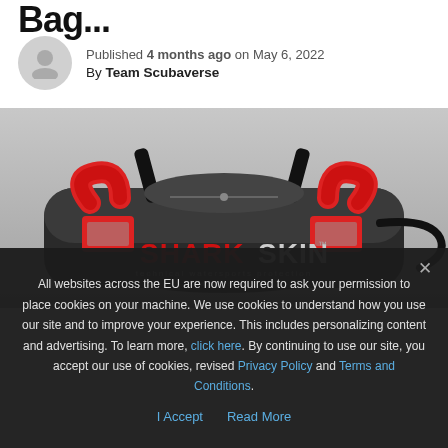Bag...
Published 4 months ago on May 6, 2022
By Team Scubaverse
[Figure (photo): A black and red Sharkskin duffel bag with the text SHARKSKIN technical watersports protection australia printed on the side. The bag has red handles and straps.]
All websites across the EU are now required to ask your permission to place cookies on your machine. We use cookies to understand how you use our site and to improve your experience. This includes personalizing content and advertising. To learn more, click here. By continuing to use our site, you accept our use of cookies, revised Privacy Policy and Terms and Conditions.
I Accept   Read More